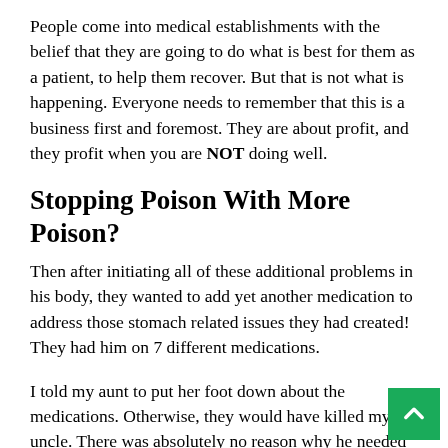People come into medical establishments with the belief that they are going to do what is best for them as a patient, to help them recover. But that is not what is happening. Everyone needs to remember that this is a business first and foremost. They are about profit, and they profit when you are NOT doing well.
Stopping Poison With More Poison?
Then after initiating all of these additional problems in his body, they wanted to add yet another medication to address those stomach related issues they had created! They had him on 7 different medications.
I told my aunt to put her foot down about the medications. Otherwise, they would have killed my uncle. There was absolutely no reason why he needed 3 different high blood pressure medications, but they claimed it was to prevent another stroke.